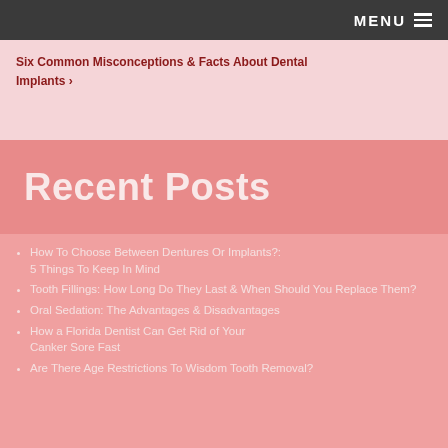MENU ≡
Six Common Misconceptions & Facts About Dental Implants ›
Recent Posts
How To Choose Between Dentures Or Implants?: 5 Things To Keep In Mind
Tooth Fillings: How Long Do They Last & When Should You Replace Them?
Oral Sedation: The Advantages & Disadvantages
How a Florida Dentist Can Get Rid of Your Canker Sore Fast
Are There Age Restrictions To Wisdom Tooth Removal?